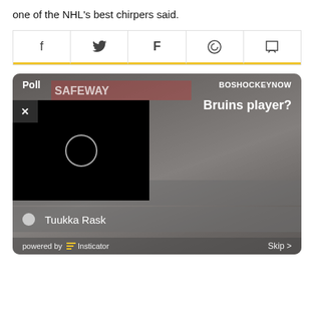one of the NHL's best chirpers said.
[Figure (screenshot): Social share buttons: Facebook, Twitter, Flipboard, WhatsApp, Comment]
[Figure (screenshot): Poll widget overlaid on hockey background image. Header shows 'Poll' and 'BOSHOCKEYNOW'. Question asks about Bruins player. Video ad overlay with X close button and loading spinner. Options: David Pastrňák, Tuukka Rask. Footer: powered by Insticator, Skip >]